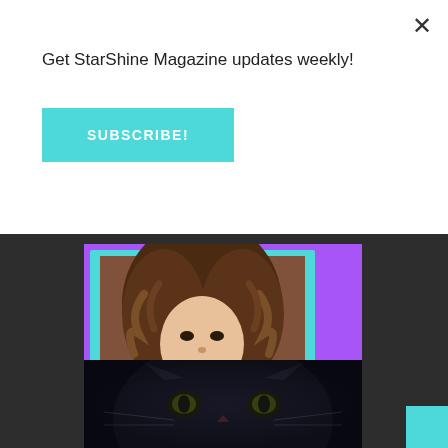Get StarShine Magazine updates weekly!
SUBSCRIBE!
[Figure (photo): StarShine Magazine promotional card featuring a young woman with curly hair, text HAVEN in teal, purple background with teal frame, @STARSHINEMAG THUR. AUG 5TH, StarShine Magazine logo]
[Figure (photo): Dark close-up image of a cat's face in dim lighting]
[Figure (other): Teal/cyan colored square box in bottom right corner]